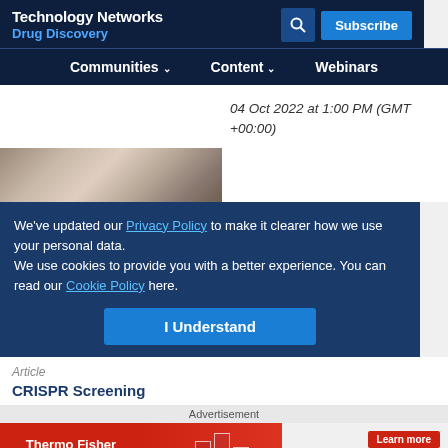Technology Networks Drug Discovery
Communities  Content  Webinars
04 Oct 2022 at 1:00 PM (GMT +00:00)
[Figure (photo): Partial photo of a person, partially visible behind cookie consent overlay]
We've updated our Privacy Policy to make it clearer how we use your personal data.
We use cookies to provide you with a better experience. You can read our Cookie Policy here.
I Understand
Article
CRISPR Screening
Advertisement
[Figure (other): Thermo Fisher Scientific advertisement banner with red background, beaker imagery, Learn more button, and thermo scientific logo]